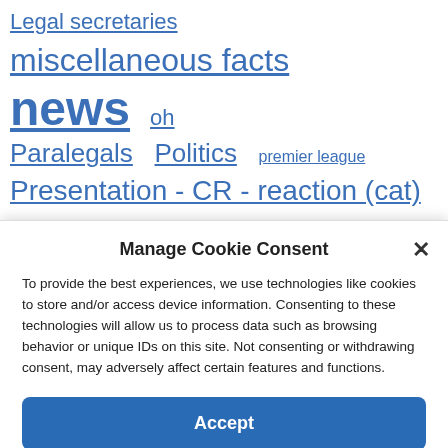Legal secretaries
miscellaneous facts  news  oh
Paralegals  Politics  premier league
Presentation - CR - reaction (cat)  psg
ranking  restaurant  Rugby  Season 2021-2022
Soccer  society  sport  Straight  Trial  Video
Manage Cookie Consent
To provide the best experiences, we use technologies like cookies to store and/or access device information. Consenting to these technologies will allow us to process data such as browsing behavior or unique IDs on this site. Not consenting or withdrawing consent, may adversely affect certain features and functions.
Accept
Cookie Policy